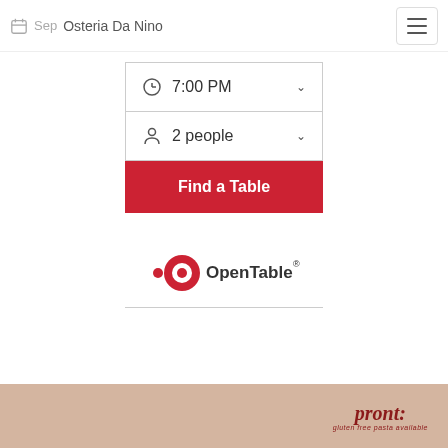Sep  Osteria Da Nino
7:00 PM
2 people
Find a Table
[Figure (logo): OpenTable logo with red circle and dot]
[Figure (photo): Bottom strip showing tan/beige background with dark red italic script text]